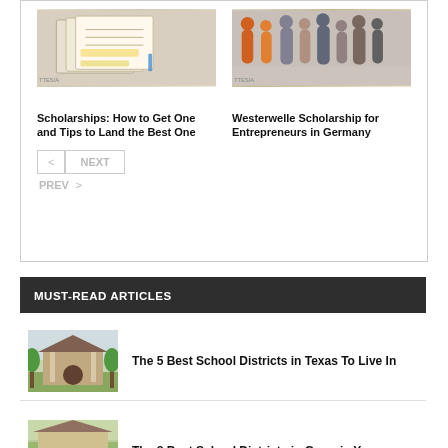[Figure (photo): Photo of open books and notes on a desk]
[Figure (photo): Photo of a group of students walking]
Scholarships: How to Get One and Tips to Land the Best One
Westerwelle Scholarship for Entrepreneurs in Germany
< NEXT
PREV >
MUST-READ ARTICLES
[Figure (photo): Photo of a house/school building exterior]
The 5 Best School Districts in Texas To Live In
[Figure (photo): Photo related to Georgia school districts]
The 8 Best School Districts in Georgia You